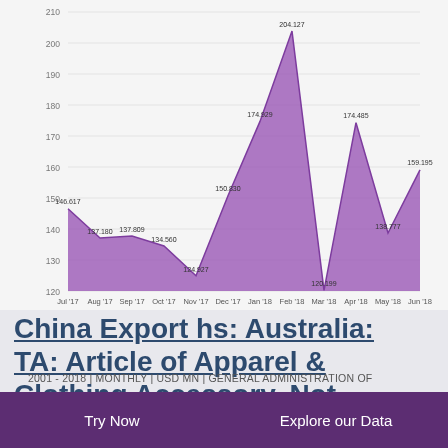[Figure (area-chart): CN: Export HS: Australia: TA: Article of Apparel & Clothing Accessory, Knitted or Crocheted]
China Export hs: Australia: TA: Article of Apparel & Clothing Accessory, Not Knitted or Crocheted
2001 - 2018 | MONTHLY | USD MN | GENERAL ADMINISTRATION OF CUSTOMS
Try Now    Explore our Data